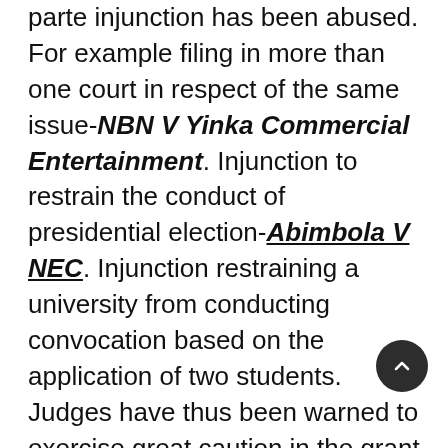parte injunction has been abused. For example filing in more than one court in respect of the same issue-NBN V Yinka Commercial Entertainment. Injunction to restrain the conduct of presidential election-Abimbola V NEC. Injunction restraining a university from conducting convocation based on the application of two students. Judges have thus been warned to exercise great caution in the grant of such injunctions.
CONDITIONS FOR GRANT.
Though an injunction is a